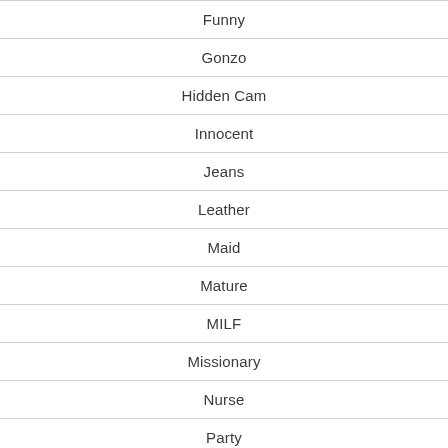Funny
Gonzo
Hidden Cam
Innocent
Jeans
Leather
Maid
Mature
MILF
Missionary
Nurse
Party